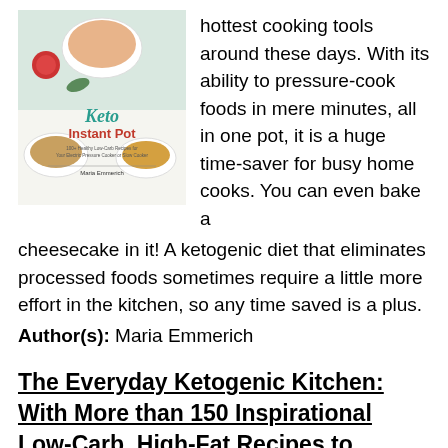[Figure (illustration): Book cover of 'Keto Instant Pot' by Maria Emmerich, showing various food dishes on a white background with red and teal text.]
hottest cooking tools around these days. With its ability to pressure-cook foods in mere minutes, all in one pot, it is a huge time-saver for busy home cooks. You can even bake a cheesecake in it! A ketogenic diet that eliminates processed foods sometimes require a little more effort in the kitchen, so any time saved is a plus.
Author(s): Maria Emmerich
The Everyday Ketogenic Kitchen: With More than 150 Inspirational Low-Carb, High-Fat Recipes to Maximize Your Health (1) (2017)